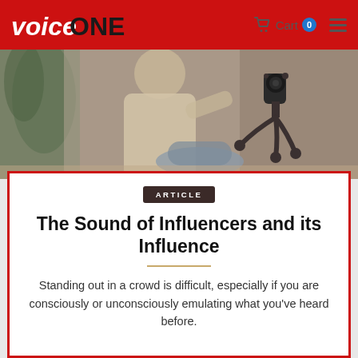VoiceONE — Cart 0
[Figure (photo): A blurred background photo showing a person wearing a beige jacket sitting at a table with a camera on a tripod/flexible mount in the foreground.]
ARTICLE
The Sound of Influencers and its Influence
Standing out in a crowd is difficult, especially if you are consciously or unconsciously emulating what you've heard before.